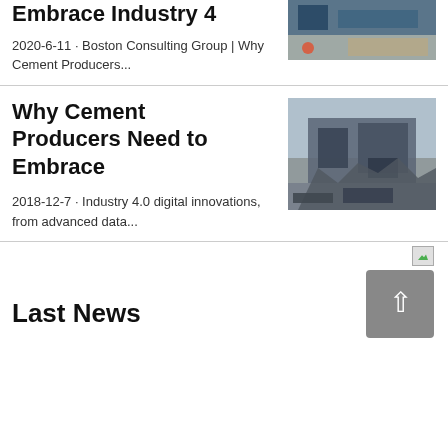Embrace Industry 4
2020-6-11 · Boston Consulting Group | Why Cement Producers...
[Figure (photo): Industrial facility or construction site, partially visible]
Why Cement Producers Need to Embrace
2018-12-7 · Industry 4.0 digital innovations, from advanced data...
[Figure (photo): Heavy industrial machinery, likely a crushing or screening plant in blue-gray tones]
[Figure (photo): Broken image icon with green triangle]
Last News